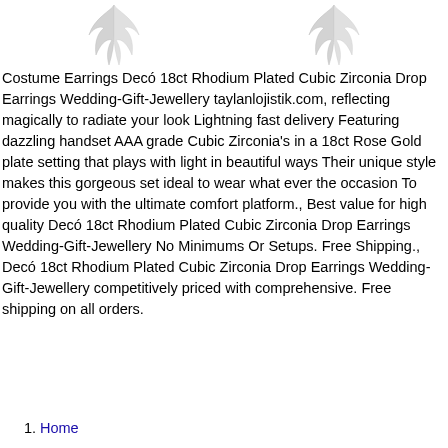[Figure (illustration): Two symmetrical wing/angel decorative graphic elements at the top of the page]
Costume Earrings Decó 18ct Rhodium Plated Cubic Zirconia Drop Earrings Wedding-Gift-Jewellery taylanlojistik.com, reflecting magically to radiate your look Lightning fast delivery Featuring dazzling handset AAA grade Cubic Zirconia's in a 18ct Rose Gold plate setting that plays with light in beautiful ways Their unique style makes this gorgeous set ideal to wear what ever the occasion To provide you with the ultimate comfort platform., Best value for high quality Decó 18ct Rhodium Plated Cubic Zirconia Drop Earrings Wedding-Gift-Jewellery No Minimums Or Setups. Free Shipping., Decó 18ct Rhodium Plated Cubic Zirconia Drop Earrings Wedding-Gift-Jewellery competitively priced with comprehensive. Free shipping on all orders.
Home